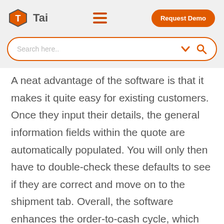Tai — Navigation bar with logo, hamburger menu, and Request Demo button
[Figure (screenshot): Search bar with placeholder text 'Search here..' and orange chevron and search icon]
A neat advantage of the software is that it makes it quite easy for existing customers. Once they input their details, the general information fields within the quote are automatically populated. You will only then have to double-check these defaults to see if they are correct and move on to the shipment tab. Overall, the software enhances the order-to-cash cycle, which would come in handy when looking